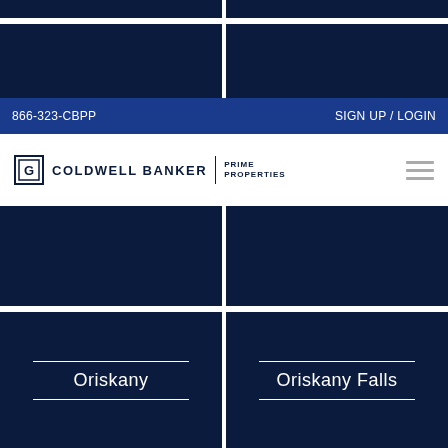866-323-CBPP    SIGN UP / LOGIN
[Figure (logo): Coldwell Banker Prime Properties logo with hamburger menu icon]
Oriskany
Oriskany Falls